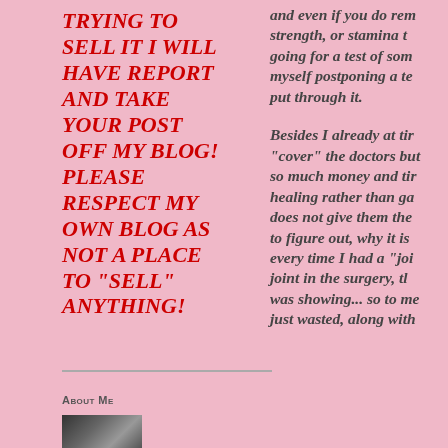TRYING TO SELL IT I WILL HAVE REPORT AND TAKE YOUR POST OFF MY BLOG! PLEASE RESPECT MY OWN BLOG AS NOT A PLACE TO "SELL" ANYTHING!
and even if you do rem strength, or stamina t going for a test of som myself postponing a te put through it.
Besides I already at ti "cover" the doctors but so much money and ti healing rather than ga does not give them the to figure out, why it is every time I had a "joi joint in the surgery, th was showing... so to me just wasted, along with
About Me